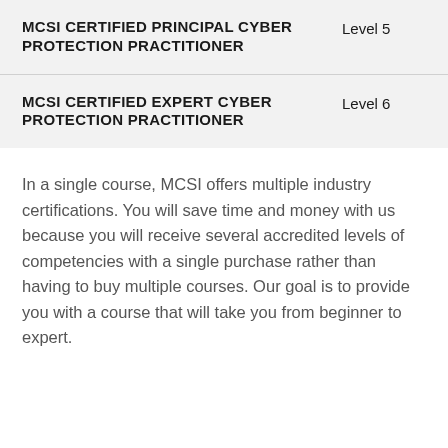| Certification | Level |
| --- | --- |
| MCSI CERTIFIED PRINCIPAL CYBER PROTECTION PRACTITIONER | Level 5 |
| MCSI CERTIFIED EXPERT CYBER PROTECTION PRACTITIONER | Level 6 |
In a single course, MCSI offers multiple industry certifications. You will save time and money with us because you will receive several accredited levels of competencies with a single purchase rather than having to buy multiple courses. Our goal is to provide you with a course that will take you from beginner to expert.